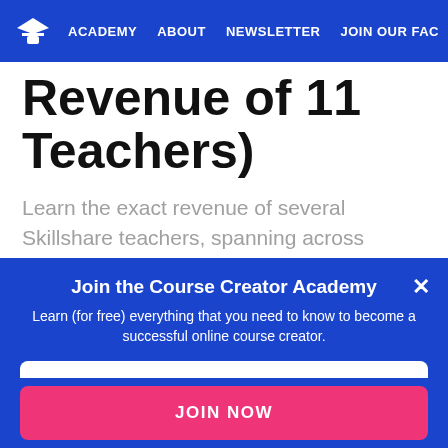ACADEMY  ABOUT  NEWSLETTER  JOIN OUR FAC
Revenue of 11 Teachers)
Learn the exact revenue of several Skillshare teachers, spanning across different course
Join the Course Creator Academy
Learn (for free) everything that you need to know to become a successful online course creator.
Email
JOIN NOW